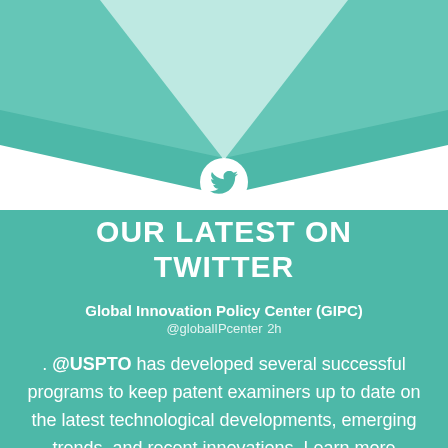[Figure (infographic): Teal chevron/V-shape background with Twitter bird icon at center, creating a decorative header for a Twitter feed section]
OUR LATEST ON TWITTER
Global Innovation Policy Center (GIPC) @globalIPcenter 2h
. @USPTO has developed several successful programs to keep patent examiners up to date on the latest technological developments, emerging trends, and recent innovations. Learn more